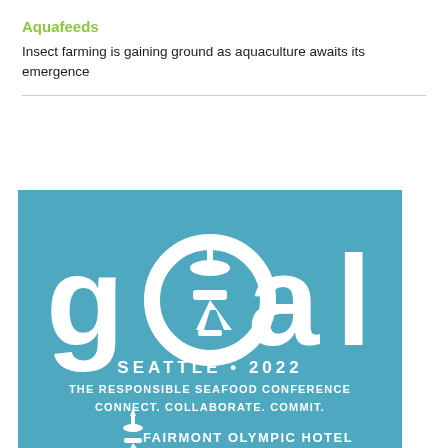Aquafeeds
Insect farming is gaining ground as aquaculture awaits its emergence
[Figure (logo): GOAL Seattle 2022 conference advertisement. Blue background with large white 'goal' text where the 'o' contains a Space Needle icon. Text reads: SEATTLE • 2022, THE RESPONSIBLE SEAFOOD CONFERENCE, CONNECT. COLLABORATE. COMMIT., FAIRMONT OLYMPIC HOTEL]